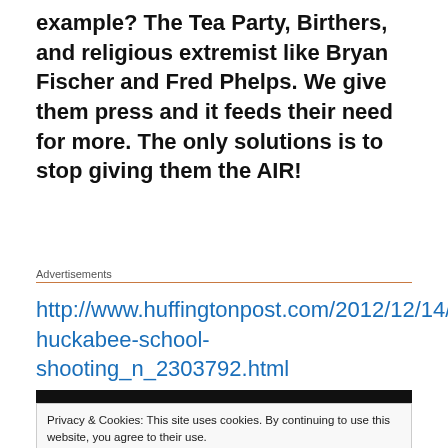example? The Tea Party, Birthers, and religious extremist like Bryan Fischer and Fred Phelps. We give them press and it feeds their need for more. The only solutions is to stop giving them the AIR!
Advertisements
http://www.huffingtonpost.com/2012/12/14/mike-huckabee-school-shooting_n_2303792.html
[Figure (screenshot): Dark video thumbnail strip]
Privacy & Cookies: This site uses cookies. By continuing to use this website, you agree to their use.
To find out more, including how to control cookies, see here: Cookie Policy
Close and accept